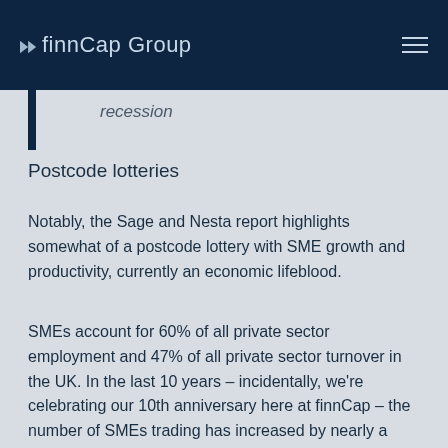finnCap Group
recession
Postcode lotteries
Notably, the Sage and Nesta report highlights somewhat of a postcode lottery with SME growth and productivity, currently an economic lifeblood.
SMEs account for 60% of all private sector employment and 47% of all private sector turnover in the UK. In the last 10 years – incidentally, we're celebrating our 10th anniversary here at finnCap – the number of SMEs trading has increased by nearly a third, despite having